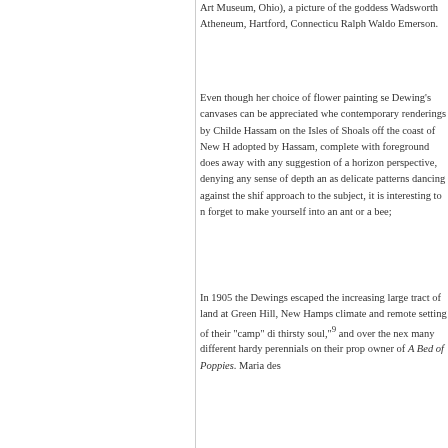Art Museum, Ohio), a picture of the goddess Wadsworth Atheneum, Hartford, Connecticut Ralph Waldo Emerson.
Even though her choice of flower painting se Dewing's canvases can be appreciated whe contemporary renderings by Childe Hassam on the Isles of Shoals off the coast of New H adopted by Hassam, complete with foregroun does away with any suggestion of a horizon perspective, denying any sense of depth an as delicate patterns dancing against the shif approach to the subject, it is interesting to n forget to make yourself into an ant or a bee;
In 1905 the Dewings escaped the increasing large tract of land at Green Hill, New Hamps climate and remote setting of their "camp" di thirsty soul,"9 and over the next many different hardy perennials on their prop owner of A Bed of Poppies. Maria de